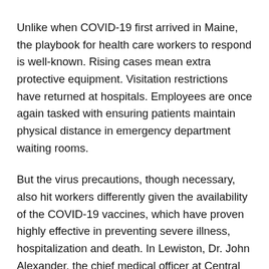Unlike when COVID-19 first arrived in Maine, the playbook for health care workers to respond is well-known. Rising cases mean extra protective equipment. Visitation restrictions have returned at hospitals. Employees are once again tasked with ensuring patients maintain physical distance in emergency department waiting rooms.
But the virus precautions, though necessary, also hit workers differently given the availability of the COVID-19 vaccines, which have proven highly effective in preventing severe illness, hospitalization and death. In Lewiston, Dr. John Alexander, the chief medical officer at Central Maine Medical Center, linked the rise in cases in Lewiston to Androscoggin County's vaccination rate, which is about seven percentage points lower than the state average.
“The increase in cases is concerning to our team members who have been working hard throughout the pandemic to serve our